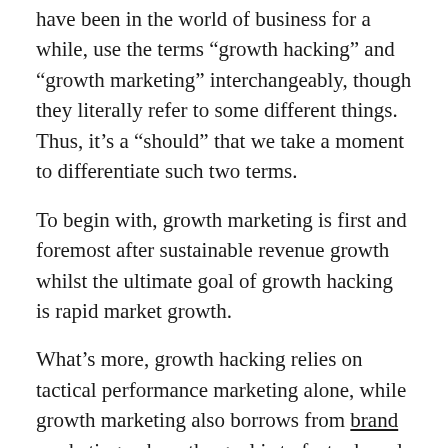have been in the world of business for a while, use the terms “growth hacking” and “growth marketing” interchangeably, though they literally refer to some different things. Thus, it’s a “should” that we take a moment to differentiate such two terms.
To begin with, growth marketing is first and foremost after sustainable revenue growth whilst the ultimate goal of growth hacking is rapid market growth.
What’s more, growth hacking relies on tactical performance marketing alone, while growth marketing also borrows from brand marketing, where the goal is to foster brand awareness.